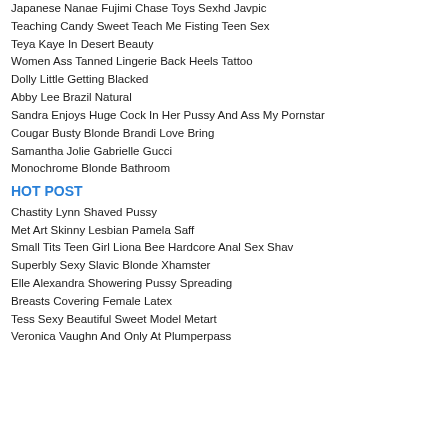Japanese Nanae Fujimi Chase Toys Sexhd Javpic
Teaching Candy Sweet Teach Me Fisting Teen Sex
Teya Kaye In Desert Beauty
Women Ass Tanned Lingerie Back Heels Tattoo
Dolly Little Getting Blacked
Abby Lee Brazil Natural
Sandra Enjoys Huge Cock In Her Pussy And Ass My Pornstar
Cougar Busty Blonde Brandi Love Bring
Samantha Jolie Gabrielle Gucci
Monochrome Blonde Bathroom
HOT POST
Chastity Lynn Shaved Pussy
Met Art Skinny Lesbian Pamela Saff
Small Tits Teen Girl Liona Bee Hardcore Anal Sex Shav
Superbly Sexy Slavic Blonde Xhamster
Elle Alexandra Showering Pussy Spreading
Breasts Covering Female Latex
Tess Sexy Beautiful Sweet Model Metart
Veronica Vaughn And Only At Plumperpass